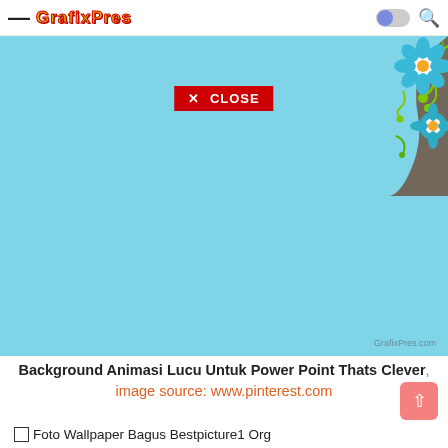— GrafixPres [logo] [toggle] [search]
[Figure (screenshot): Light blue rectangle with decorative floral artwork in top-right corner (blue flowers, brown vines, green swirls), and a red CLOSE button overlay. Watermark: GrafixPres.com]
Background Animasi Lucu Untuk Power Point Thats Clever, image source: www.pinterest.com
Foto Wallpaper Bagus Bestpicture1 Org